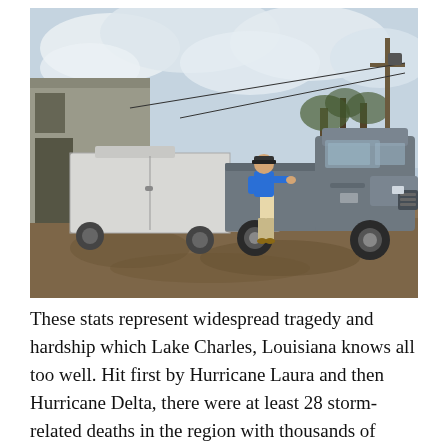[Figure (photo): A person in a blue shirt and shorts stands next to a gray Toyota Tundra pickup truck which is hitched to a white enclosed trailer. The setting appears to be a parking area near a metal building, with downed trees and a utility pole in the background, suggesting aftermath of a storm.]
These stats represent widespread tragedy and hardship which Lake Charles, Louisiana knows all too well. Hit first by Hurricane Laura and then Hurricane Delta, there were at least 28 storm-related deaths in the region with thousands of households left in distress.